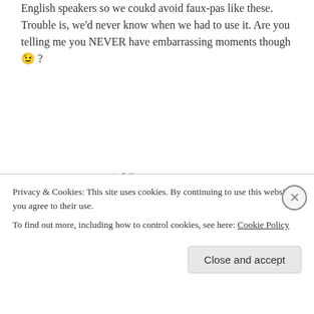English speakers so we coukd avoid faux-pas like these. Trouble is, we'd never know when we had to use it. Are you telling me you NEVER have embarrassing moments though 😉 ?
★ Like
↪ Reply
Val on June 2, 2013 at 12:22 pm
Hmmm.... some of us aren't good at learning languages. I've tried many (in classes, on my
Privacy & Cookies: This site uses cookies. By continuing to use this website, you agree to their use.
To find out more, including how to control cookies, see here: Cookie Policy
Close and accept